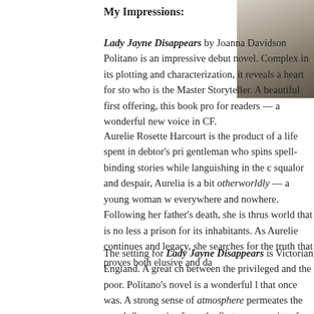My Impressions:
[Figure (photo): Partial photo of a person, cropped at top-right corner of the page]
Lady Jayne Disappears by Joanna Davidson Politano is an impressive debut novel. Complex in its plotting and characterization, it reveals a heart for sto who is the Master Storyteller. A beautiful first offering, this book pro for readers — a wonderful new voice in CF.
Aurelie Rosette Harcourt is the product of a life spent in debtor's pri gentleman who spins spell-binding stories while languishing in the c squalor and despair, Aurelia is a bit otherworldly — a young woman w everywhere and nowhere. Following her father's death, she is thrus world that is no less a prison for its inhabitants. As Aurelie continues and legacy, she searches for the truth that proves both elusive and da
The setting for Lady Jayne Disappears is Victorian England. A great ch between the privileged and the poor. Politano's novel is a wonderful l that once was. A strong sense of atmosphere permeates the novel. St narrative from the first person point of view of Aurelie combined wi third person view, causes the reader feel she has stepped right into t prison and the pristine environs of Lynhurst Manor. While the chara much Victorian in their actions and attitudes (quite Dickensian in the